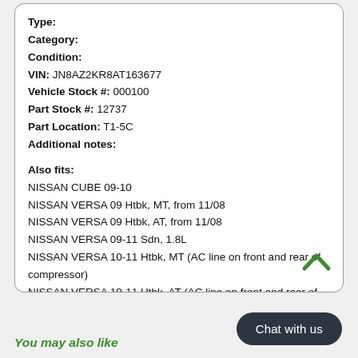Type:
Category:
Condition:
VIN: JN8AZ2KR8AT163677
Vehicle Stock #: 000100
Part Stock #: 12737
Part Location: T1-5C
Additional notes:
Also fits:
NISSAN CUBE 09-10
NISSAN VERSA 09 Htbk, MT, from 11/08
NISSAN VERSA 09 Htbk, AT, from 11/08
NISSAN VERSA 09-11 Sdn, 1.8L
NISSAN VERSA 10-11 Htbk, MT (AC line on front and rear of compressor)
NISSAN VERSA 10-11 Htbk, AT (AC line on front and rear of compressor)
NISSAN VERSA 12 Htbk (1.8L)
You may also like